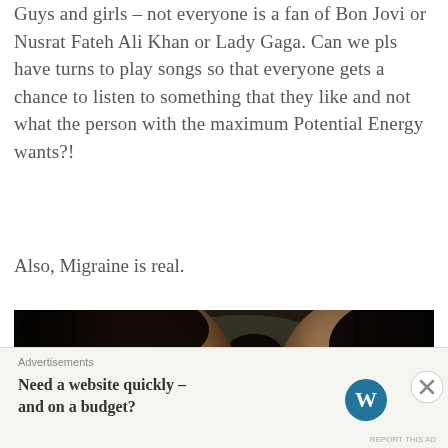Guys and girls – not everyone is a fan of Bon Jovi or Nusrat Fateh Ali Khan or Lady Gaga. Can we pls have turns to play songs so that everyone gets a chance to listen to something that they like and not what the person with the maximum Potential Energy wants?!
Also, Migraine is real.
[Figure (photo): Selfie photo of three people inside a car — a young man on the left in foreground, another person in the background center, and a young woman on the right side.]
Advertisements
Need a website quickly – and on a budget?